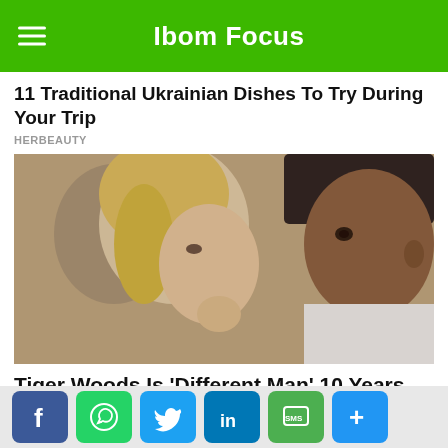Ibom Focus
11 Traditional Ukrainian Dishes To Try During Your Trip
HERBEAUTY
[Figure (photo): Close-up photo of a blonde woman and a man wearing a dark baseball cap, side by side, looking forward.]
Tiger Woods Is 'Different Man' 10 Years After Scandal
HERBEAUTY